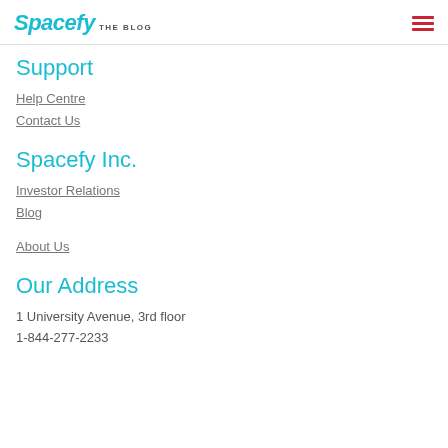Spacefy THE BLOG
Support
Help Centre
Contact Us
Spacefy Inc.
Investor Relations
Blog
About Us
Our Address
1 University Avenue, 3rd floor
1-844-277-2233